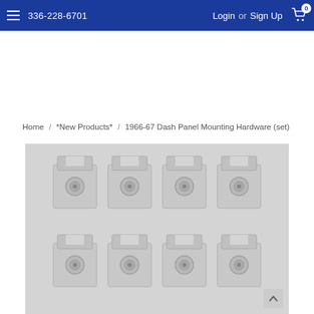336-228-6701   Login or Sign Up   [cart: 0]
Home / *New Products* / 1966-67 Dash Panel Mounting Hardware (set)
[Figure (photo): Eight silver metal dash panel mounting hardware clips arranged in two rows of four on a light grey background. Each clip is a small square bracket with a circular hole in the center and notched top edge.]